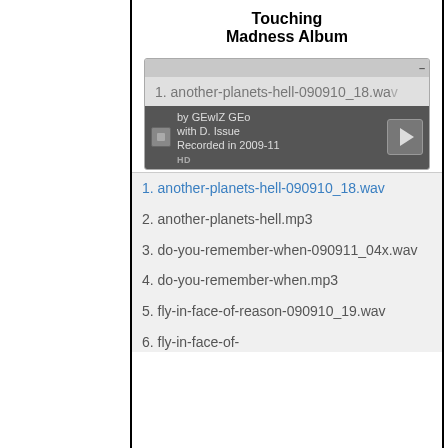Touching Madness Album
[Figure (screenshot): Media player showing track '1. another-planets-hell-090910_18.wav' with playback controls, info text 'by GEwIZ GEo with D. Issue, Recorded in 2009-11', play button, and HD badge]
1. another-planets-hell-090910_18.wav
2. another-planets-hell.mp3
3. do-you-remember-when-090911_04x.wav
4. do-you-remember-when.mp3
5. fly-in-face-of-reason-090910_19.wav
6. fly-in-face-of-